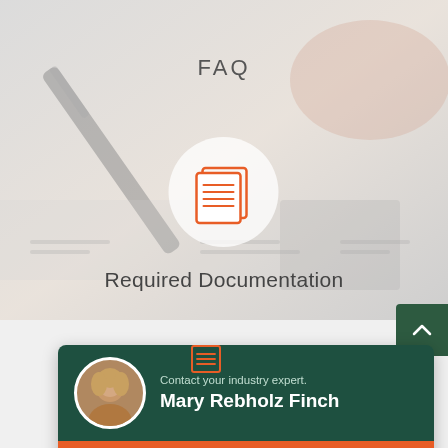[Figure (photo): Background photo of a pen and documents on a desk, muted gray/pink tones]
FAQ
[Figure (illustration): Orange document/pages icon inside a light gray circle]
Required Documentation
[Figure (illustration): Small orange document icon]
[Figure (other): Dark green contact card with photo of Mary Rebholz Finch, 'Contact your industry expert.' label, name in bold white text, and orange 'Click here' button at the bottom]